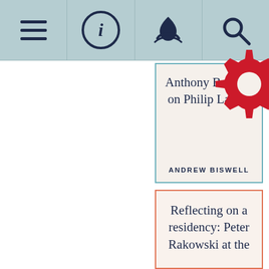Navigation bar with menu, info, donate, and search icons
Anthony Burgess on Philip Larkin
ANDREW BISWELL
Reflecting on a residency: Peter Rakowski at the